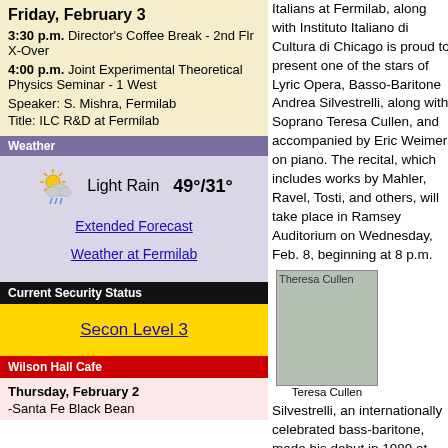Friday, February 3
3:30 p.m. Director's Coffee Break - 2nd Flr X-Over
4:00 p.m. Joint Experimental Theoretical Physics Seminar - 1 West
Speaker: S. Mishra, Fermilab
Title: ILC R&D at Fermilab
Weather
Light Rain 49°/31°
Extended Forecast
Weather at Fermilab
Current Security Status
Secon Level 3
Wilson Hall Cafe
Thursday, February 2
-Santa Fe Black Bean
Italians at Fermilab, along with Instituto Italiano di Cultura di Chicago is proud to present one of the stars of Lyric Opera, Basso-Baritone Andrea Silvestrelli, along with Soprano Teresa Cullen, and accompanied by Eric Weimer on piano. The recital, which includes works by Mahler, Ravel, Tosti, and others, will take place in Ramsey Auditorium on Wednesday, Feb. 8, beginning at 8 p.m.
[Figure (photo): Photo of Theresa Cullen]
Teresa Cullen
Silvestrelli, an internationally celebrated bass-baritone, made his debut in 1989 at Jesi (Ancona) in Macbeth and soon thereafter appeared in Don Giovanni at the Teatro Comunale, Bologna, and the Teatro dell'Opera, Rome. Since